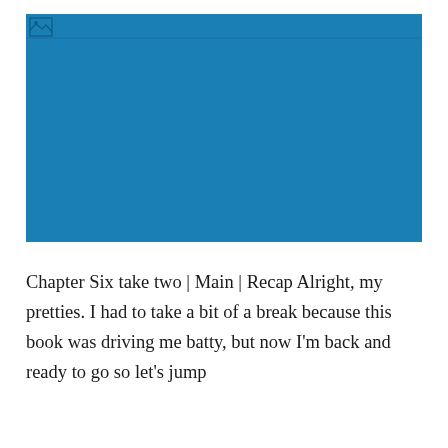[Figure (illustration): A solid blue rectangle filling the image area, with a small broken-image icon in the top-left corner indicating an unloaded image.]
Chapter Six take two | Main | Recap Alright, my pretties. I had to take a bit of a break because this book was driving me batty, but now I'm back and ready to go so let's jump